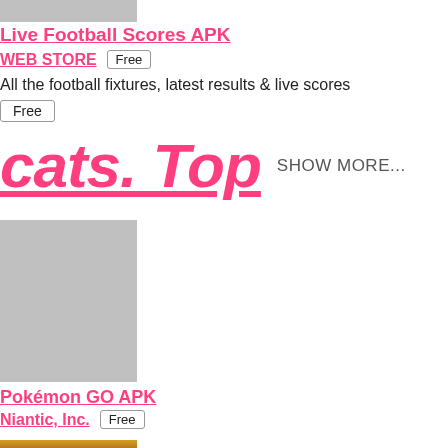[Figure (screenshot): Gray placeholder image for Live Football Scores app, cropped at top]
Live Football Scores APK
WEB STORE  Free
All the football fixtures, latest results & live scores
Free
cats. Top  SHOW MORE...
[Figure (screenshot): Gray placeholder image for Pokémon GO app]
Pokémon GO APK
Niantic, Inc.  Free
Discover Pokémon worldwide
Free
[Figure (screenshot): Partially visible image at bottom, showing yellow/brown colors]